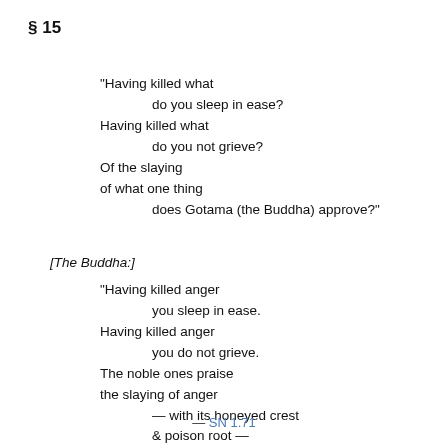§  15
"Having killed what
      do you sleep in ease?
Having killed what
      do you not grieve?
Of the slaying
of what one thing
      does Gotama (the Buddha) approve?"
[The Buddha:]
"Having killed anger
      you sleep in ease.
Having killed anger
      you do not grieve.
The noble ones praise
the slaying of anger
      —  with its honeyed crest
      & poison root  —
for having killed it
      you do not grieve."
— SN 1.71